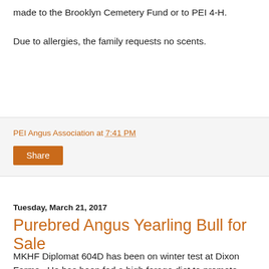made to the Brooklyn Cemetery Fund or to PEI 4-H.
Due to allergies, the family requests no scents.
PEI Angus Association at 7:41 PM
Share
Tuesday, March 21, 2017
Purebred Angus Yearling Bull for Sale
MKHF Diplomat 604D has been on winter test at Dixon Farms.  He has been fed a high forage diet to promote growth and development. He is a son of SAV International 2020, a bull recognized for his easy calving and performance. MKHF Diplomat has an average daily gain of 3.64 lbs and on March 14th he weighed 1,330 lbs (birthdate Jan 30/16).  He has above average EPDs for Rib Eye Area, Carcass Weight and Marbling. He should be eligible for a bonus under the Department of Agriculture